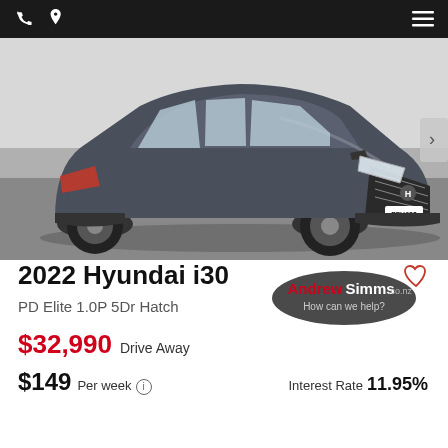Phone, Location, Menu
[Figure (photo): Gray 2022 Hyundai i30 PD Elite 1.0P 5Dr Hatch photographed from a three-quarter front angle in a parking area, license plate PFU683]
2022 Hyundai i30
PD Elite 1.0P 5Dr Hatch
$32,990 Drive Away
[Figure (logo): Andrew Simms .co.nz dealer logo oval badge with tagline 'How can we help?']
$149 Per week  Interest Rate 11.95%